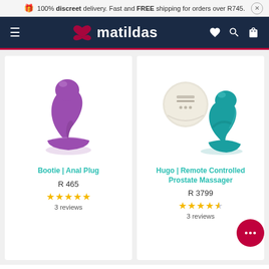🎁 100% discreet delivery. Fast and FREE shipping for orders over R745.
[Figure (logo): Matildas e-commerce website header with dark navy background, hamburger menu icon, Matildas logo with heart-infinity symbol, and icons for wishlist, search, and bag.]
[Figure (photo): Purple Bootie Anal Plug product photo on white background]
Bootie | Anal Plug
R 465
★★★★★ 3 reviews
[Figure (photo): Teal Hugo Remote Controlled Prostate Massager with white remote control, product photo on white background]
Hugo | Remote Controlled Prostate Massager
R 3799
★★★★½ 3 reviews